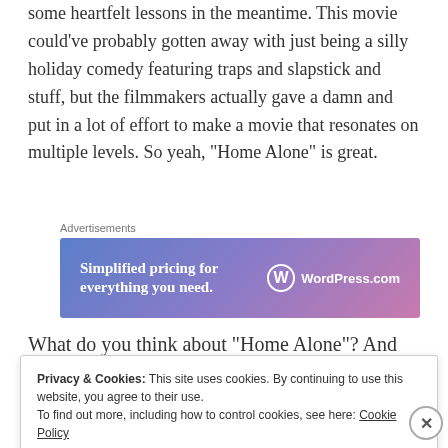some heartfelt lessons in the meantime. This movie could've probably gotten away with just being a silly holiday comedy featuring traps and slapstick and stuff, but the filmmakers actually gave a damn and put in a lot of effort to make a movie that resonates on multiple levels. So yeah, "Home Alone" is great.
[Figure (other): WordPress.com advertisement banner with gradient blue-to-pink background. Text reads: 'Simplified pricing for everything you need.' with WordPress.com logo on the right.]
What do you think about "Home Alone"? And what's
Privacy & Cookies: This site uses cookies. By continuing to use this website, you agree to their use.
To find out more, including how to control cookies, see here: Cookie Policy
Close and accept